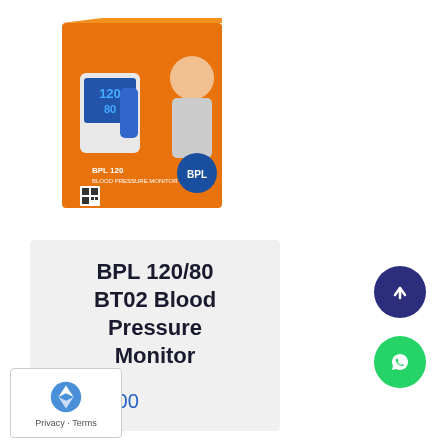[Figure (photo): Product box photo of BPL 120/80 BT02 Blood Pressure Monitor, orange box with woman using the device]
BPL 120/80 BT02 Blood Pressure Monitor
₹4,100.00
[Figure (logo): reCAPTCHA logo with Privacy and Terms text]
[Figure (illustration): Scroll to top button - dark navy circle with upward arrow]
[Figure (illustration): WhatsApp button - green circle with WhatsApp phone icon]